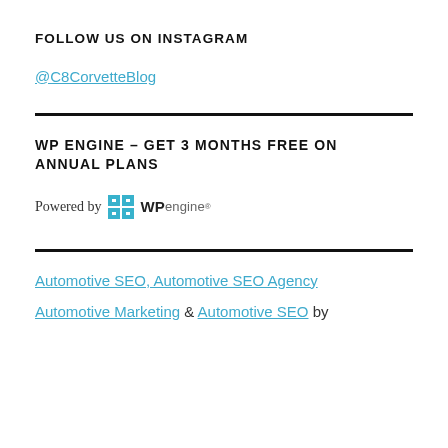FOLLOW US ON INSTAGRAM
@C8CorvetteBlog
WP ENGINE – GET 3 MONTHS FREE ON ANNUAL PLANS
[Figure (logo): WP Engine logo with 'Powered by WPengine' text and teal grid icon]
Automotive SEO, Automotive SEO Agency
Automotive Marketing & Automotive SEO by